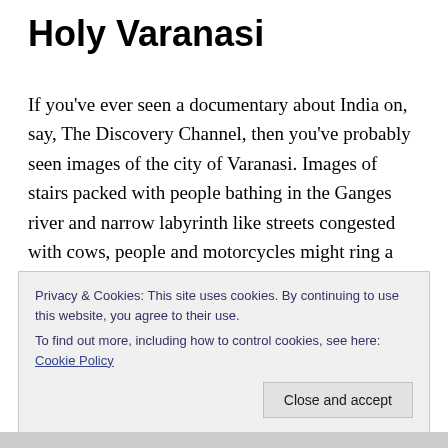Holy Varanasi
If you’ve ever seen a documentary about India on, say, The Discovery Channel, then you’ve probably seen images of the city of Varanasi. Images of stairs packed with people bathing in the Ganges river and narrow labyrinth like streets congested with cows, people and motorcycles might ring a bell. It’s seen as one of the holiest places in the Hindu religion and is one of the world’s oldest continuously inhabited cities, since around 1200 B.C. It was described to me to be as important to
Privacy & Cookies: This site uses cookies. By continuing to use this website, you agree to their use.
To find out more, including how to control cookies, see here: Cookie Policy

Close and accept